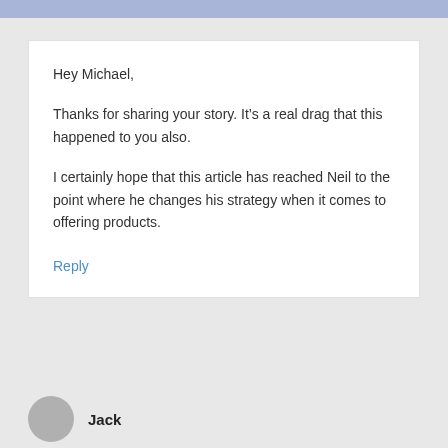Hey Michael,
Thanks for sharing your story. It's a real drag that this happened to you also.
I certainly hope that this article has reached Neil to the point where he changes his strategy when it comes to offering products.
Reply
Jack